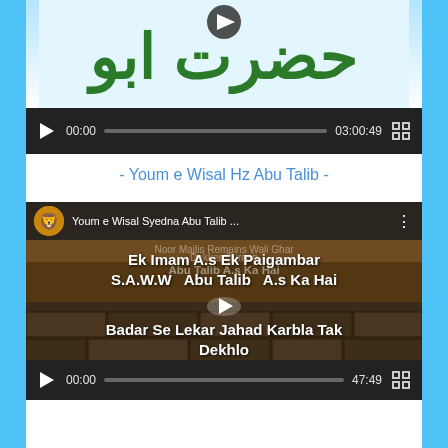[Figure (screenshot): Top banner with Arabic calligraphy text in green on light blue/white background, with a play button overlay]
[Figure (screenshot): Video player control bar showing play button, time 00:00, progress bar, duration 03:00:49, and fullscreen button on dark background]
- Youm e Wisal Hz Abu Talib -
[Figure (screenshot): Embedded YouTube-style video showing channel icon, title 'Youm e Wisal Syedna Abu Talib...', video thumbnail with text: 'Ek Imam A.s Ek Paigambar S.A.W.W Abu Talib A.s Ka Hai' and 'Badar Se Lekar Jahad Karbla Tak Dekhlo', play button, and control bar with 00:00 and 47:49]